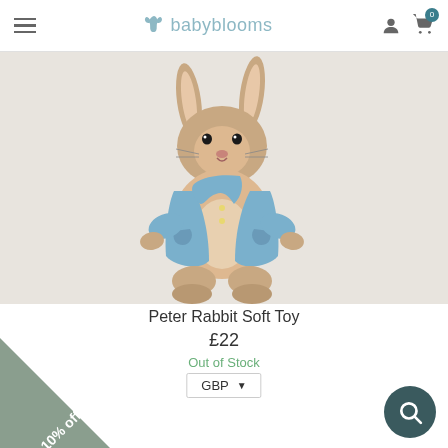babyblooms
[Figure (photo): Peter Rabbit soft toy plush wearing a blue jacket, sitting against a light grey/beige background]
Peter Rabbit Soft Toy
£22
Out of Stock
GBP
10% off